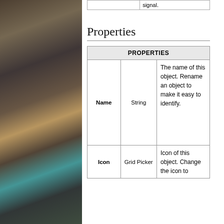[Figure (photo): Dark photograph of stacked/stored materials or objects, occupying the left third of the page]
|  |  | signal. |
| --- | --- | --- |
Properties
| PROPERTIES |  |  |
| --- | --- | --- |
| Name | String | The name of this object. Rename an object to make it easy to identify. |
| Icon | Grid Picker | Icon of this object. Change the icon to |